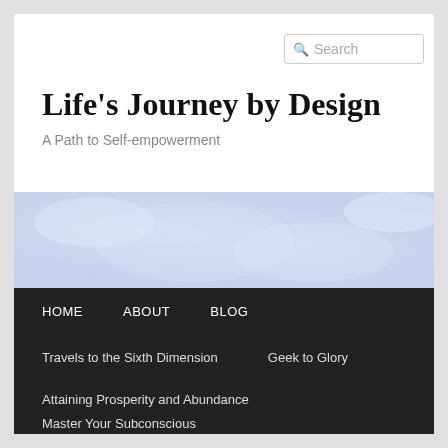Search
Life's Journey by Design
A Path to Self-empowerment
[Figure (photo): Hero image with a blueish/lavender textured water droplet or crystal pattern background]
HOME
ABOUT
BLOG
Travels to the Sixth Dimension
Geek to Glory
Attaining Prosperity and Abundance
Master Your Subconscious